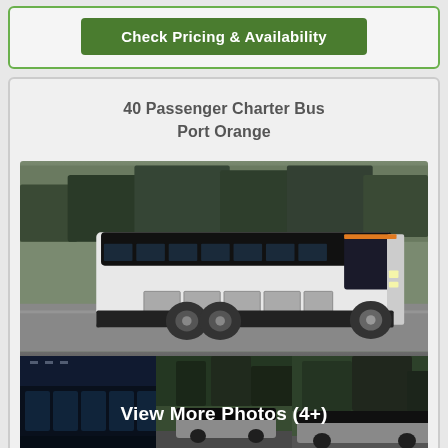[Figure (screenshot): Green 'Check Pricing & Availability' button on a light card with green border at top of page]
40 Passenger Charter Bus
Port Orange
[Figure (photo): Large white charter bus on a road with trees in background (main photo), with three smaller thumbnail photos below showing bus interior and exterior views, overlaid with 'View More Photos (4+)' text]
[Figure (screenshot): Partially visible 'Check P...' green button on bottom card, with a white chat popup overlay showing 'Chat now' text and a chat icon]